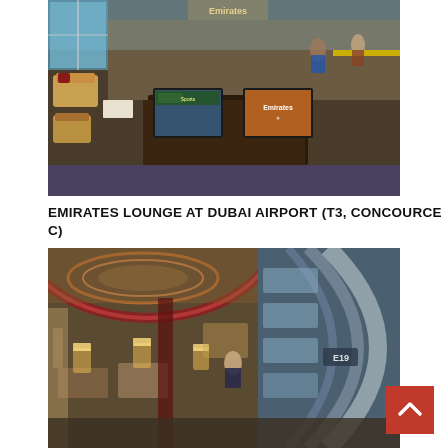[Figure (photo): Interior of Emirates Business Class Lounge at Dubai Airport Terminal 3, Concourse C. Shows plush tan/gold seating arrangements, central media console with two flat-screen TVs (one showing sports, one showing Emirates logo), large windows on left, carpeted floor, and passengers in background.]
EMIRATES LOUNGE AT DUBAI AIRPORT (T3, CONCOURCE C)
[Figure (photo): Another view of an Emirates airport lounge interior. Shows curved red-accented ceiling with circular lighting feature on left, modern lounge seating with illuminated table lamps, curved blue architectural wall with large windows on the right showing the terminal structure, passengers seated throughout the space.]